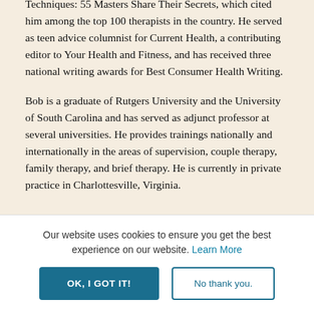Techniques: 55 Masters Share Their Secrets, which cited him among the top 100 therapists in the country. He served as teen advice columnist for Current Health, a contributing editor to Your Health and Fitness, and has received three national writing awards for Best Consumer Health Writing.
Bob is a graduate of Rutgers University and the University of South Carolina and has served as adjunct professor at several universities. He provides trainings nationally and internationally in the areas of supervision, couple therapy, family therapy, and brief therapy. He is currently in private practice in Charlottesville, Virginia.
Our website uses cookies to ensure you get the best experience on our website. Learn More